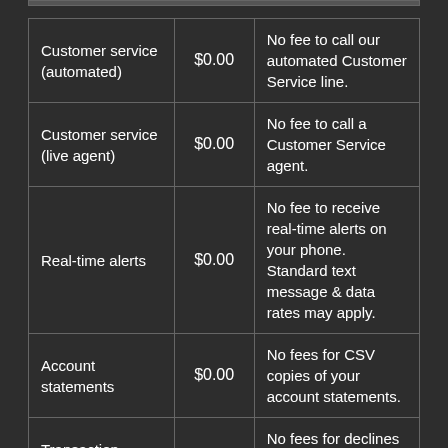| Service | Fee | Description |
| --- | --- | --- |
| Customer service (automated) | $0.00 | No fee to call our automated Customer Service line. |
| Customer service (live agent) | $0.00 | No fee to call a Customer Service agent. |
| Real-time alerts | $0.00 | No fee to receive real-time alerts on your phone. Standard text message & data rates may apply. |
| Account statements | $0.00 | No fees for CSV copies of your account statements. |
| Transaction |  | No fees for declines due to |